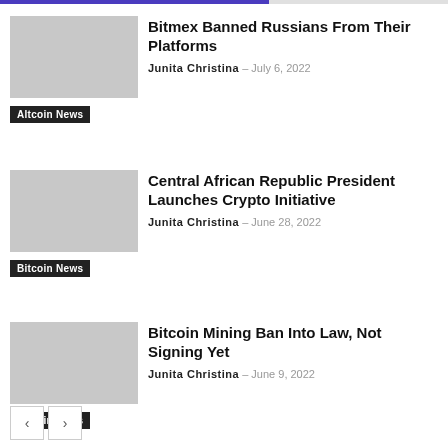Bitmex Banned Russians From Their Platforms
Junita Christina - July 6, 2022
Altcoin News
Central African Republic President Launches Crypto Initiative
Junita Christina - June 28, 2022
Bitcoin News
Bitcoin Mining Ban Into Law, Not Signing Yet
Junita Christina - June 9, 2022
Altcoin News